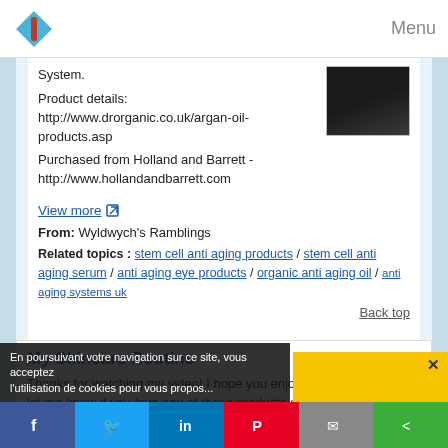Menu
System.
Product details:
http://www.drorganic.co.uk/argan-oil-products.asp
Purchased from Holland and Barrett - http://www.hollandandbarrett.com
View more
From: Wyldwych's Ramblings
Related topics : stem cell anti aging products / stem cell anti aging serum / anti aging eye products / organic anti aging oil / anti aging systems uk
Back top
My Skincare Routine
Thanks for watching my video! I hope you enjoy and let me know if you love any of these products as well!!
En poursuivant votre navigation sur ce site, vous acceptez l'utilisation de cookies pour vous propos...